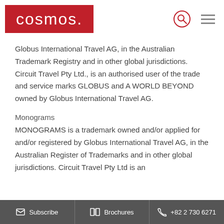[Figure (logo): Cosmos brand logo — white lowercase 'cosmos.' text on dark red/crimson background rectangle]
Globus International Travel AG, in the Australian Trademark Registry and in other global jurisdictions. Circuit Travel Pty Ltd., is an authorised user of the trade and service marks GLOBUS and A WORLD BEYOND owned by Globus International Travel AG.
Monograms
MONOGRAMS is a trademark owned and/or applied for and/or registered by Globus International Travel AG, in the Australian Register of Trademarks and in other global jurisdictions. Circuit Travel Pty Ltd is an
Subscribe   Brochures   +82 2 730 6271